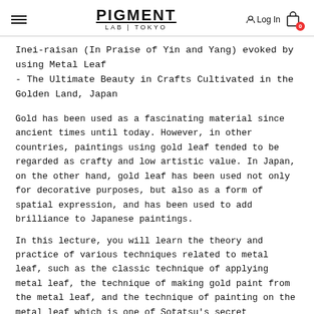PIGMENT LAB | TOKYO — Log In — 0
Inei-raisan (In Praise of Yin and Yang) evoked by using Metal Leaf
- The Ultimate Beauty in Crafts Cultivated in the Golden Land, Japan
Gold has been used as a fascinating material since ancient times until today. However, in other countries, paintings using gold leaf tended to be regarded as crafty and low artistic value. In Japan, on the other hand, gold leaf has been used not only for decorative purposes, but also as a form of spatial expression, and has been used to add brilliance to Japanese paintings.
In this lecture, you will learn the theory and practice of various techniques related to metal leaf, such as the classic technique of applying metal leaf, the technique of making gold paint from the metal leaf, and the technique of painting on the metal leaf which is one of Sotatsu's secret techniques. (Tawaraya Sotatsu was a famous Japanese painter of the Rinpa School from Edo Period.)